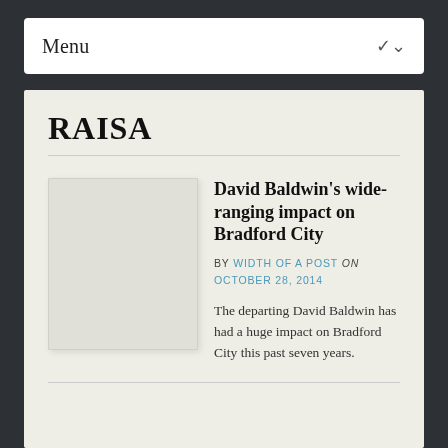Menu
RAISA
[Figure (photo): Placeholder image box, light grey rectangle]
David Baldwin's wide-ranging impact on Bradford City
BY WIDTH OF A POST on OCTOBER 28, 2014
The departing David Baldwin has had a huge impact on Bradford City this past seven years.